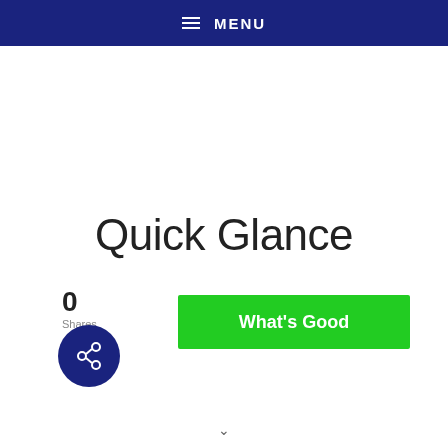≡ MENU
Quick Glance
0
Shares
What's Good
[Figure (other): Dark blue circular share button with share/network icon]
∨